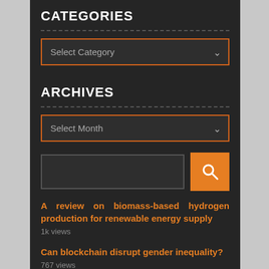CATEGORIES
Select Category
ARCHIVES
Select Month
[Figure (screenshot): Search bar with text input field and orange search button with magnifying glass icon]
A review on biomass-based hydrogen production for renewable energy supply
1k views
Can blockchain disrupt gender inequality?
767 views
Apply Now: $500,000 for Your Big Data